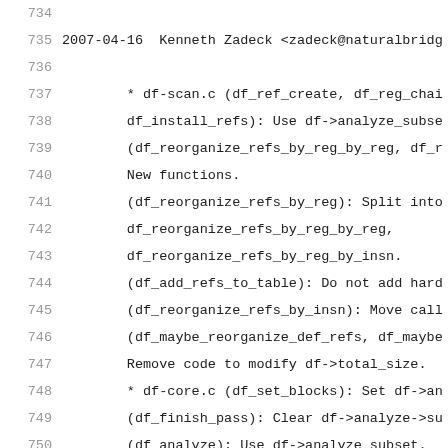734
735  2007-04-16  Kenneth Zadeck <zadeck@naturalbridg
736
737          * df-scan.c (df_ref_create, df_reg_chai
738          df_install_refs): Use df->analyze_subse
739          (df_reorganize_refs_by_reg_by_reg, df_r
740          New functions.
741          (df_reorganize_refs_by_reg): Split into
742          df_reorganize_refs_by_reg_by_reg,
743          df_reorganize_refs_by_reg_by_insn.
744          (df_add_refs_to_table): Do not add hard
745          (df_reorganize_refs_by_insn): Move call
746          (df_maybe_reorganize_def_refs, df_maybe
747          Remove code to modify df->total_size.
748          * df-core.c (df_set_blocks): Set df->an
749          (df_finish_pass): Clear df->analyze->su
750          (df_analyze): Use df->analyze_subset.
751          (df_dump_start): Remove total_size from
752          * df.h (DF_RI_NO_UPDATE, DF_DEFS_TOTAL_
753          Removed.
754          (df.analyze_subset): New field.  * df-p